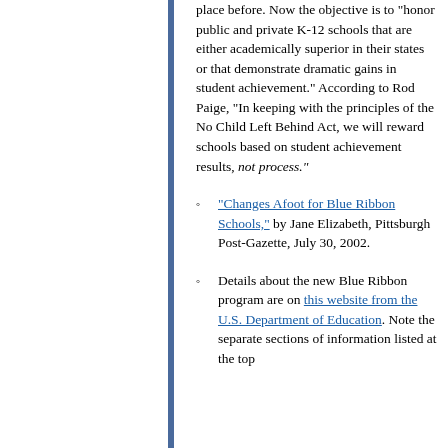place before. Now the objective is to "honor public and private K-12 schools that are either academically superior in their states or that demonstrate dramatic gains in student achievement." According to Rod Paige, "In keeping with the principles of the No Child Left Behind Act, we will reward schools based on student achievement results, not process."
"Changes Afoot for Blue Ribbon Schools," by Jane Elizabeth, Pittsburgh Post-Gazette, July 30, 2002.
Details about the new Blue Ribbon program are on this website from the U.S. Department of Education. Note the separate sections of information listed at the top